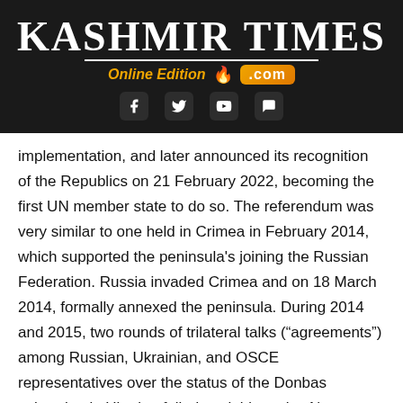[Figure (logo): Kashmir Times Online Edition logo with social media icons on dark background]
implementation, and later announced its recognition of the Republics on 21 February 2022, becoming the first UN member state to do so. The referendum was very similar to one held in Crimea in February 2014, which supported the peninsula's joining the Russian Federation. Russia invaded Crimea and on 18 March 2014, formally annexed the peninsula. During 2014 and 2015, two rounds of trilateral talks (“agreements”) among Russian, Ukrainian, and OSCE representatives over the status of the Donbas subregion in Ukraine failed to yield results. No party was sincere about ensuring human rights, freedom of expression, and fair elections. Putin declared on 24th February (the day Russia invaded Ukraine) that the Minsk Agreement did not exist, just three days after recognizing the independence of Donetsk and Luhansk.